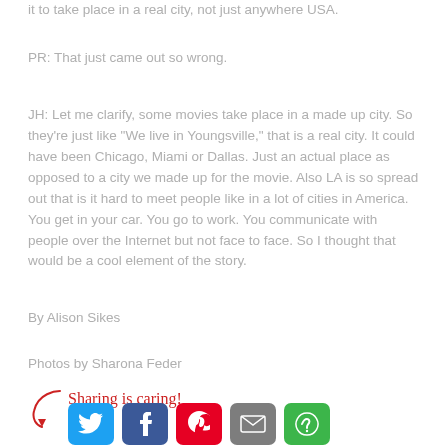it to take place in a real city, not just anywhere USA.
PR: That just came out so wrong.
JH: Let me clarify, some movies take place in a made up city. So they're just like “We live in Youngsville,” that is a real city. It could have been Chicago, Miami or Dallas. Just an actual place as opposed to a city we made up for the movie. Also LA is so spread out that is it hard to meet people like in a lot of cities in America. You get in your car. You go to work. You communicate with people over the Internet but not face to face. So I thought that would be a cool element of the story.
By Alison Sikes
Photos by Sharona Feder
Sharing is caring!
[Figure (infographic): Social sharing buttons row: Twitter (blue), Facebook (dark blue), Pinterest (red), Email (gray), More (green), with a red handwritten 'Sharing is caring!' label and a curling arrow pointing to the buttons.]